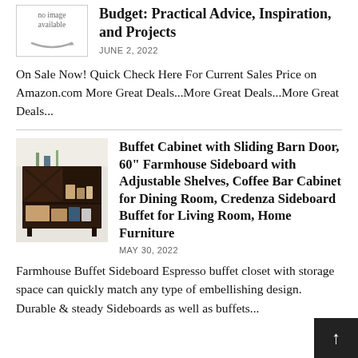[Figure (logo): Amazon 'available' badge with Amazon smile logo, gray tones, bordered box]
Budget: Practical Advice, Inspiration, and Projects
JUNE 2, 2022
On Sale Now! Quick Check Here For Current Sales Price on Amazon.com More Great Deals...More Great Deals...More Great Deals...
[Figure (photo): Dark espresso-colored buffet sideboard cabinet with sliding barn doors, open shelving with items displayed, on a light background.]
Buffet Cabinet with Sliding Barn Door, 60" Farmhouse Sideboard with Adjustable Shelves, Coffee Bar Cabinet for Dining Room, Credenza Sideboard Buffet for Living Room, Home Furniture
MAY 30, 2022
Farmhouse Buffet Sideboard Espresso buffet closet with storage space can quickly match any type of embellishing design. Durable & steady Sideboards as well as buffets...